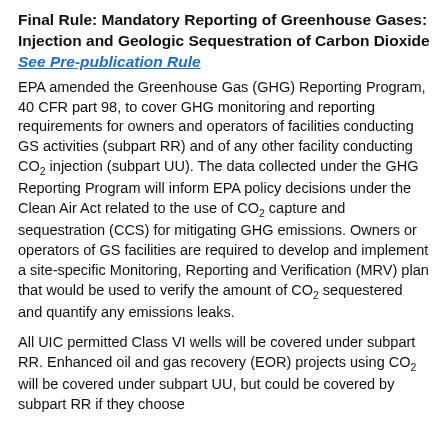Final Rule: Mandatory Reporting of Greenhouse Gases: Injection and Geologic Sequestration of Carbon Dioxide See Pre-publication Rule
EPA amended the Greenhouse Gas (GHG) Reporting Program, 40 CFR part 98, to cover GHG monitoring and reporting requirements for owners and operators of facilities conducting GS activities (subpart RR) and of any other facility conducting CO2 injection (subpart UU). The data collected under the GHG Reporting Program will inform EPA policy decisions under the Clean Air Act related to the use of CO2 capture and sequestration (CCS) for mitigating GHG emissions. Owners or operators of GS facilities are required to develop and implement a site-specific Monitoring, Reporting and Verification (MRV) plan that would be used to verify the amount of CO2 sequestered and quantify any emissions leaks.
All UIC permitted Class VI wells will be covered under subpart RR. Enhanced oil and gas recovery (EOR) projects using CO2 will be covered under subpart UU, but could be covered by subpart RR if they choose